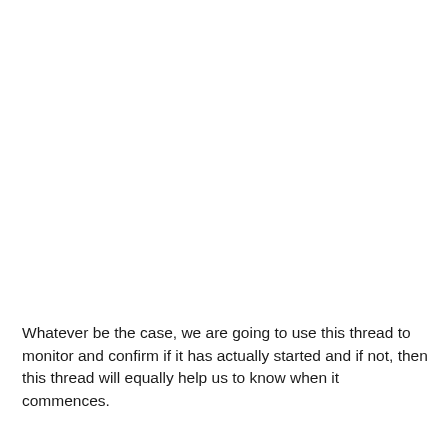Whatever be the case, we are going to use this thread to monitor and confirm if it has actually started and if not, then this thread will equally help us to know when it commences.